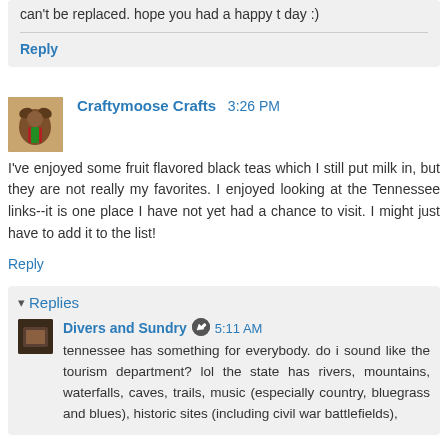can't be replaced. hope you had a happy t day :)
Reply
Craftymoose Crafts  3:26 PM
I've enjoyed some fruit flavored black teas which I still put milk in, but they are not really my favorites. I enjoyed looking at the Tennessee links--it is one place I have not yet had a chance to visit. I might just have to add it to the list!
Reply
Replies
Divers and Sundry  5:11 AM
tennessee has something for everybody. do i sound like the tourism department? lol the state has rivers, mountains, waterfalls, caves, trails, music (especially country, bluegrass and blues), historic sites (including civil war battlefields),